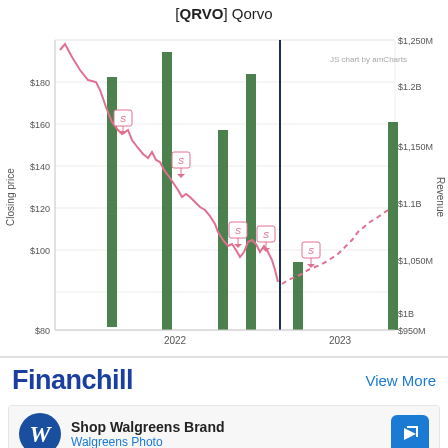[QRVO] Qorvo
[Figure (line-chart): Stock closing price (pink line, left axis $80-$180+) vs Revenue bars (green bars, right axis $950M-$1,250M) from 2022 to 2023. Stock price starts ~$190, declines to ~$90, then recovers to ~$130 (dashed). Green revenue bars at quarterly intervals. Analyst price target markers (S labels) shown on the line. A vertical dark blue line marks a mid-2022 boundary. JS chart by amCharts watermark visible.]
Financhill
View More
Shop Walgreens Brand
Walgreens Photo